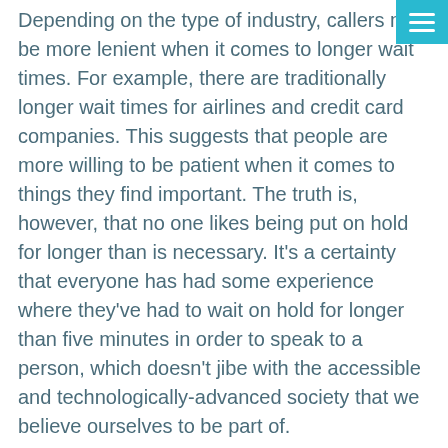Depending on the type of industry, callers may be more lenient when it comes to longer wait times. For example, there are traditionally longer wait times for airlines and credit card companies. This suggests that people are more willing to be patient when it comes to things they find important. The truth is, however, that no one likes being put on hold for longer than is necessary. It's a certainty that everyone has had some experience where they've had to wait on hold for longer than five minutes in order to speak to a person, which doesn't jibe with the accessible and technologically-advanced society that we believe ourselves to be part of.
An 80/30 goal – that is, to answer 80% of calls in 30 seconds or less – is an answering service bench mark, which is a reasonable wait time at an affordable price. Every phone ring takes